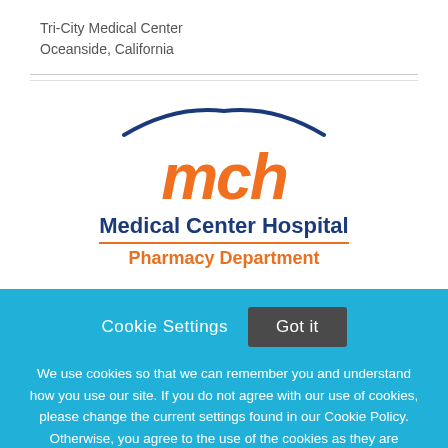Tri-City Medical Center
Oceanside, California
[Figure (logo): MCH Medical Center Hospital Pharmacy Department logo with orange 'mch' lettering, blue arc above, and blue/orange text below]
Cookie Settings  Got it
We use cookies so that we can remember you and understand how you use our site. If you do not agree with our use of cookies, please change the current settings found in our Cookie Policy. Otherwise, you agree to the use of the cookies as they are currently set.